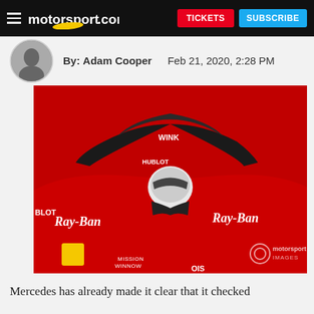motorsport.com | TICKETS | SUBSCRIBE
By: Adam Cooper   Feb 21, 2020, 2:28 PM
[Figure (photo): Close-up photo of a red Ferrari Formula 1 car with Ray-Ban and Hublot branding, showing the halo device and driver in cockpit. Motorsport Images watermark visible.]
Mercedes has already made it clear that it checked